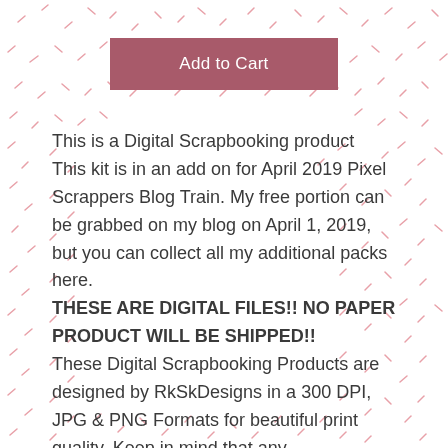[Figure (other): Scattered short pink/rose diagonal dashes and marks on white background forming a decorative pattern]
Add to Cart
This is a Digital Scrapbooking product
This kit is in an add on for April 2019 Pixel Scrappers Blog Train. My free portion can be grabbed on my blog on April 1, 2019, but you can collect all my additional packs here. THESE ARE DIGITAL FILES!! NO PAPER PRODUCT WILL BE SHIPPED!!
These Digital Scrapbooking Products are designed by RkSkDesigns in a 300 DPI, JPG & PNG Formats for beautiful print quality. Keep in mind that any